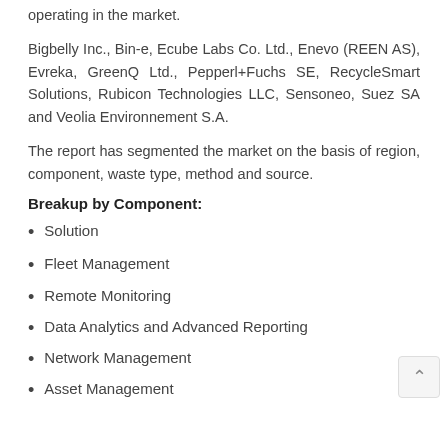operating in the market.
Bigbelly Inc., Bin-e, Ecube Labs Co. Ltd., Enevo (REEN AS), Evreka, GreenQ Ltd., Pepperl+Fuchs SE, RecycleSmart Solutions, Rubicon Technologies LLC, Sensoneo, Suez SA and Veolia Environnement S.A.
The report has segmented the market on the basis of region, component, waste type, method and source.
Breakup by Component:
Solution
Fleet Management
Remote Monitoring
Data Analytics and Advanced Reporting
Network Management
Asset Management